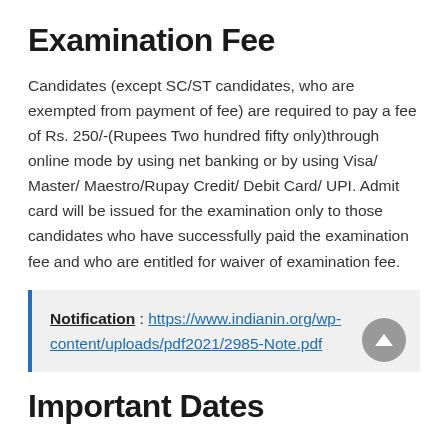Examination Fee
Candidates (except SC/ST candidates, who are exempted from payment of fee) are required to pay a fee of Rs. 250/-(Rupees Two hundred fifty only)through online mode by using net banking or by using Visa/ Master/ Maestro/Rupay Credit/ Debit Card/ UPI. Admit card will be issued for the examination only to those candidates who have successfully paid the examination fee and who are entitled for waiver of examination fee.
Notification : https://www.indianin.org/wp-content/uploads/pdf2021/2985-Note.pdf
Important Dates